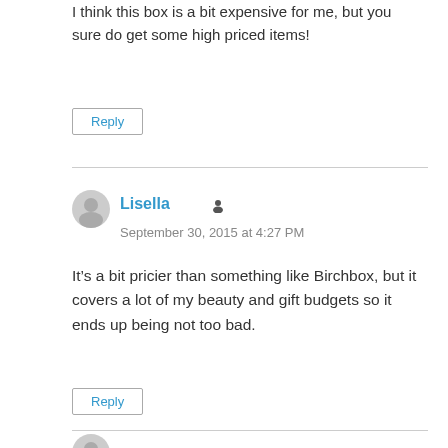I think this box is a bit expensive for me, but you sure do get some high priced items!
Reply
Lisella
September 30, 2015 at 4:27 PM
It’s a bit pricier than something like Birchbox, but it covers a lot of my beauty and gift budgets so it ends up being not too bad.
Reply